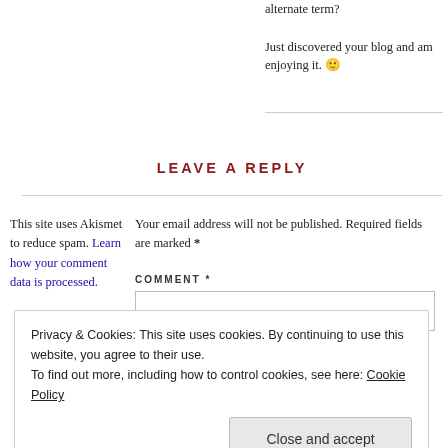alternate term?

Just discovered your blog and am enjoying it. 🙂
LEAVE A REPLY
This site uses Akismet to reduce spam. Learn how your comment data is processed.
Your email address will not be published. Required fields are marked *
COMMENT *
Privacy & Cookies: This site uses cookies. By continuing to use this website, you agree to their use.
To find out more, including how to control cookies, see here: Cookie Policy
Close and accept